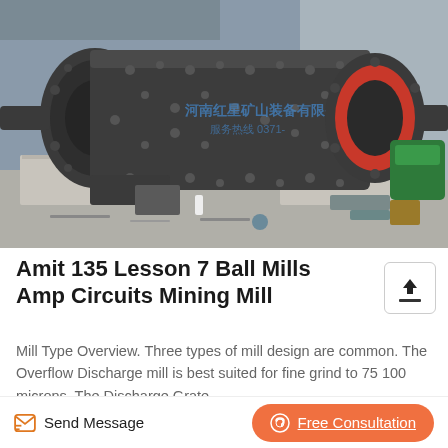[Figure (photo): Photograph of a large industrial ball mill (cylindrical grinding mill) in a factory/industrial setting. The mill is dark gray/black in color, horizontal orientation, sitting on concrete blocks. Chinese text watermark visible on the drum. Green equipment visible on the right side.]
Amit 135 Lesson 7 Ball Mills Amp Circuits Mining Mill
Mill Type Overview. Three types of mill design are common. The Overflow Discharge mill is best suited for fine grind to 75 100 microns. The Discharge Grate...
Send Message
Free Consultation